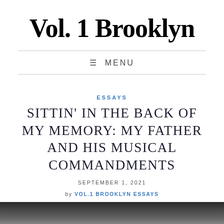Vol. 1 Brooklyn
ESSAYS
SITTIN' IN THE BACK OF MY MEMORY: MY FATHER AND HIS MUSICAL COMMANDMENTS
SEPTEMBER 1, 2021
by VOL.1 BROOKLYN ESSAYS
[Figure (photo): Dark gradient image strip at the bottom of the page, fading from dark to light grey]